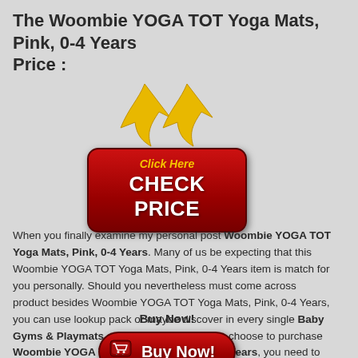The Woombie YOGA TOT Yoga Mats, Pink, 0-4 Years Price :
[Figure (illustration): A red rounded-rectangle button with golden arrows pointing down above it. The button contains 'Click Here' in yellow italic text and 'CHECK PRICE' in large bold white text.]
When you finally examine my personal post Woombie YOGA TOT Yoga Mats, Pink, 0-4 Years. Many of us be expecting that this Woombie YOGA TOT Yoga Mats, Pink, 0-4 Years item is match for you personally. Should you nevertheless must come across product besides Woombie YOGA TOT Yoga Mats, Pink, 0-4 Years, you can use lookup pack or maybe discover in every single Baby Gyms & Playmats category. After that if you choose to purchase Woombie YOGA TOT Yoga Mats, Pink, 0-4 Years, you need to simply click BUY BUTTON below.
Buy Now!
[Figure (illustration): A red rounded-rectangle 'Buy Now!' button with a shopping cart icon on the left side.]